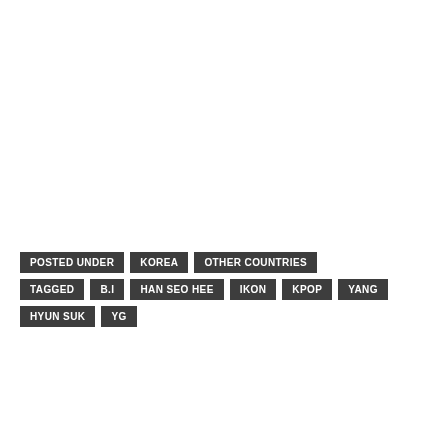POSTED UNDER   KOREA   OTHER COUNTRIES
TAGGED   B.I   HAN SEO HEE   IKON   KPOP   YANG HYUN SUK   YG